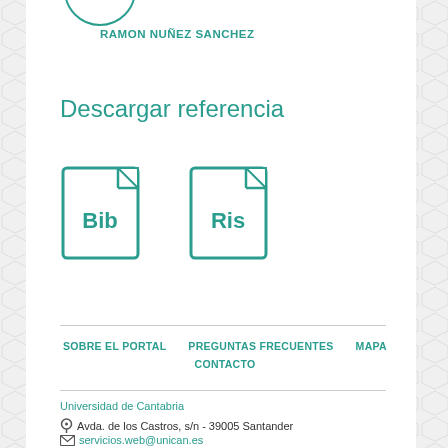RAMON NUÑEZ SANCHEZ
Descargar referencia
[Figure (illustration): Two file format icons side by side: Bib (BibTeX) and Ris, rendered as document icons with teal outlines and labels]
SOBRE EL PORTAL   PREGUNTAS FRECUENTES   MAPA   CONTACTO
Universidad de Cantabria
Avda. de los Castros, s/n - 39005 Santander
servicios.web@unican.es
942 20 22 23